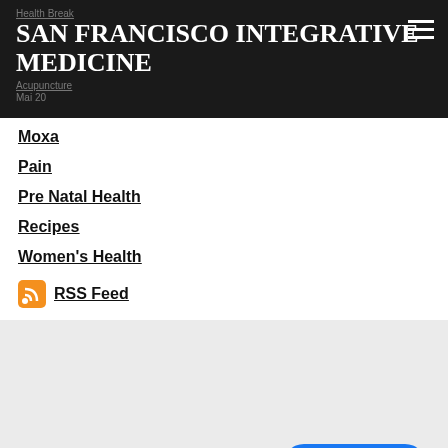Health Break
SAN FRANCISCO INTEGRATIVE MEDICINE
Acupuncture
Mai 20
Moxa
Pain
Pre Natal Health
Recipes
Women's Health
RSS Feed
Proudly p... y